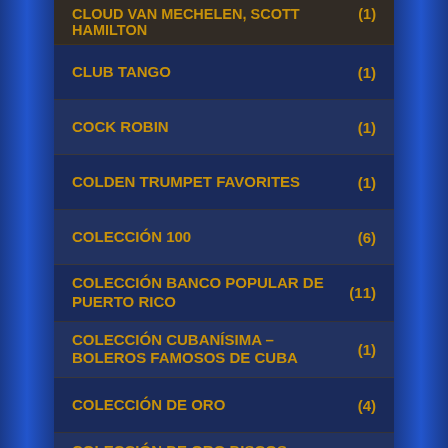CLOUD VAN MECHELEN, SCOTT HAMILTON (1)
CLUB TANGO (1)
COCK ROBIN (1)
COLDEN TRUMPET FAVORITES (1)
COLECCIÓN 100 (6)
COLECCIÓN BANCO POPULAR DE PUERTO RICO (11)
COLECCIÓN CUBANÍSIMA – BOLEROS FAMOSOS DE CUBA (1)
COLECCIÓN DE ORO (4)
COLECCIÓN DE ORO DISCOS FUENTES (19)
COLECCIÓN DOBLE PLATINO (3)